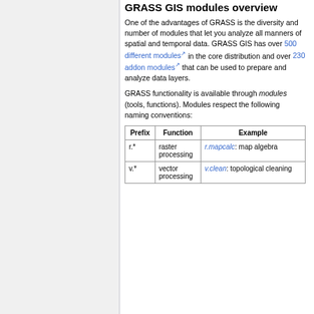GRASS GIS modules overview
One of the advantages of GRASS is the diversity and number of modules that let you analyze all manners of spatial and temporal data. GRASS GIS has over 500 different modules in the core distribution and over 230 addon modules that can be used to prepare and analyze data layers.
GRASS functionality is available through modules (tools, functions). Modules respect the following naming conventions:
| Prefix | Function | Example |
| --- | --- | --- |
| r.* | raster processing | r.mapcalc: map algebra |
| v.* | vector processing | v.clean: topological cleaning |